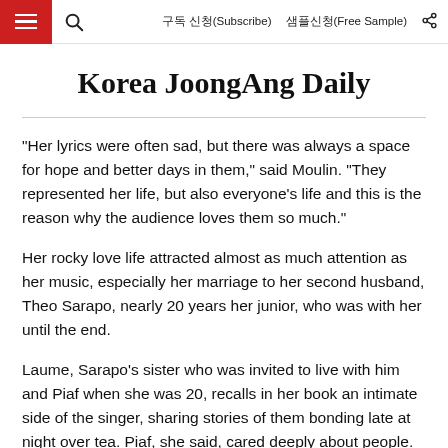구독 신청(Subscribe)   샘플신청(Free Sample)
Korea JoongAng Daily
“Her lyrics were often sad, but there was always a space for hope and better days in them,” said Moulin. “They represented her life, but also everyone’s life and this is the reason why the audience loves them so much.”
Her rocky love life attracted almost as much attention as her music, especially her marriage to her second husband, Theo Sarapo, nearly 20 years her junior, who was with her until the end.
Laume, Sarapo’s sister who was invited to live with him and Piaf when she was 20, recalls in her book an intimate side of the singer, sharing stories of them bonding late at night over tea. Piaf, she said, cared deeply about people.